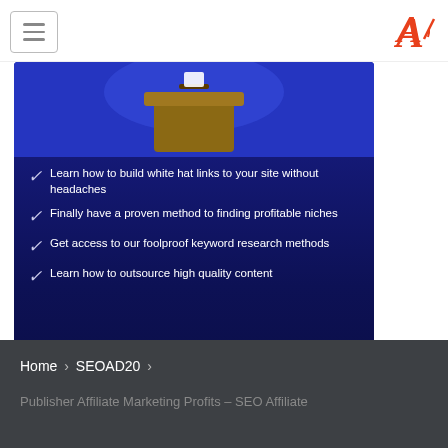[Figure (other): Navigation bar with hamburger menu icon on left and orange stylized letter A logo on right]
[Figure (infographic): SEO affiliate marketing training advertisement banner with dark blue gradient background, illustration of a ballot box at top, four checklist items about building white hat links, finding profitable niches, keyword research methods, and outsourcing content, and a yellow Join The FREE Training button]
Learn how to build white hat links to your site without headaches
Finally have a proven method to finding profitable niches
Get access to our foolproof keyword research methods
Learn how to outsource high quality content
Join The FREE Training
Home > SEOAD20 > Publisher Affiliate Marketing Profits – SEO Affiliate